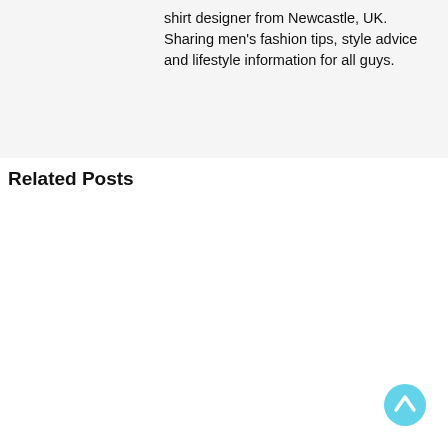shirt designer from Newcastle, UK. Sharing men's fashion tips, style advice and lifestyle information for all guys.
Related Posts
[Figure (other): Scroll-to-top button: a cyan/light-blue circle with an upward-pointing chevron arrow in white]